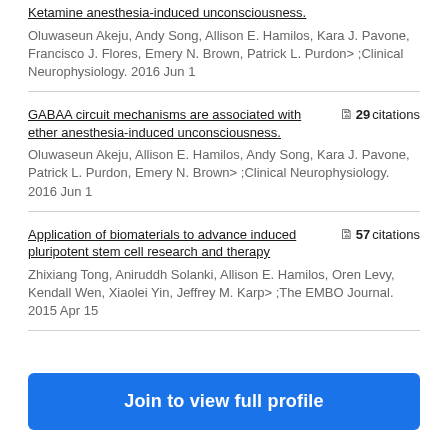Ketamine anesthesia-induced unconsciousness. Oluwaseun Akeju, Andy Song, Allison E. Hamilos, Kara J. Pavone, Francisco J. Flores, Emery N. Brown, Patrick L. Purdon> ;Clinical Neurophysiology. 2016 Jun 1
GABAA circuit mechanisms are associated with ether anesthesia-induced unconsciousness.
29 citations. Oluwaseun Akeju, Allison E. Hamilos, Andy Song, Kara J. Pavone, Patrick L. Purdon, Emery N. Brown> ;Clinical Neurophysiology. 2016 Jun 1
Application of biomaterials to advance induced pluripotent stem cell research and therapy
57 citations. Zhixiang Tong, Aniruddh Solanki, Allison E. Hamilos, Oren Levy, Kendall Wen, Xiaolei Yin, Jeffrey M. Karp> ;The EMBO Journal. 2015 Apr 15
Join to view full profile